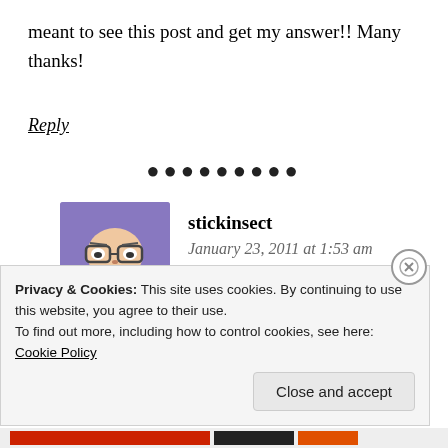meant to see this post and get my answer!! Many thanks!
Reply
• • • • • • • • •
[Figure (illustration): Avatar image of user stickinsect — cartoon character with glasses and triangular orange body on purple background]
stickinsect
January 23, 2011 at 1:53 am
Privacy & Cookies: This site uses cookies. By continuing to use this website, you agree to their use.
To find out more, including how to control cookies, see here: Cookie Policy
Close and accept